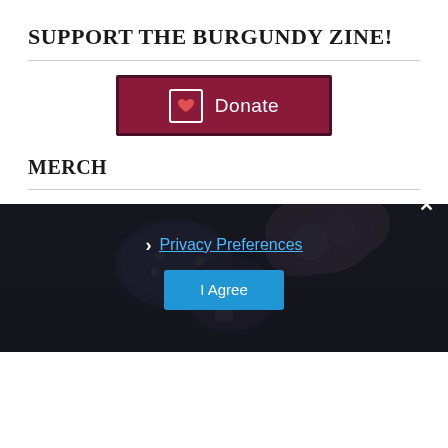SUPPORT THE BURGUNDY ZINE!
[Figure (other): Donate button with heart icon, burgundy/dark red background, labeled 'Donate']
MERCH
[Figure (photo): Photo of colorful mushroom-themed merchandise/stickers on a dark textile background]
Privacy Preferences
I Agree